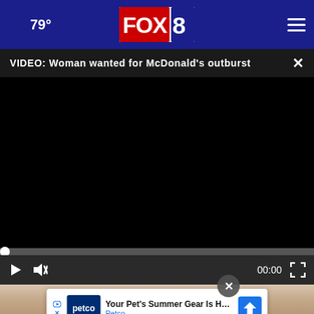79° FOX 8 navigation bar with hamburger menu
VIDEO: Woman wanted for McDonald's outburst
[Figure (screenshot): Black video player area showing a dark/black screen, with play progress bar and controls (play button, mute button, time 00:00, fullscreen button)]
[Figure (photo): Close-up photo of what appears to be an animal or pet (fur/skin visible at top), partially visible below the video player]
[Figure (other): Petco advertisement banner: 'Your Pet's Summer Gear Is Here' with Petco logo and navigation icon, with a close button overlay]